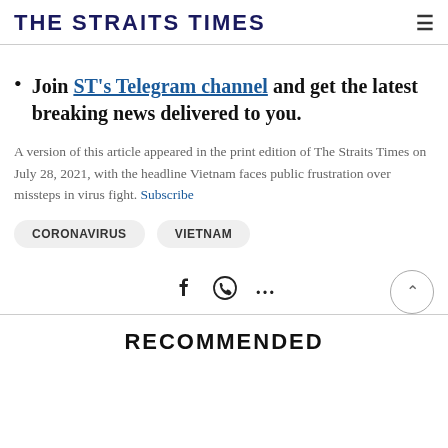THE STRAITS TIMES
Join ST's Telegram channel and get the latest breaking news delivered to you.
A version of this article appeared in the print edition of The Straits Times on July 28, 2021, with the headline Vietnam faces public frustration over missteps in virus fight. Subscribe
CORONAVIRUS  VIETNAM
[Figure (other): Social share icons: Facebook, WhatsApp, more options (ellipsis). Back-to-top chevron button.]
RECOMMENDED